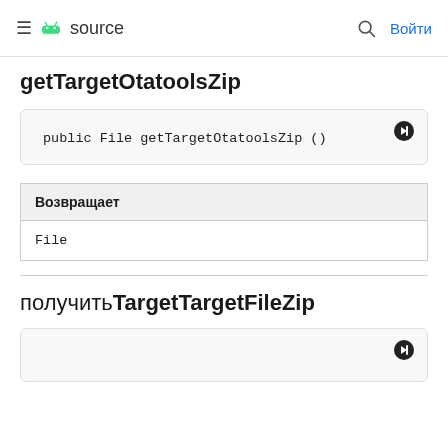≡ [android] source  🔍 Войти
getTargetOtatoolsZip
| Возвращает |
| --- |
| File |
получитьTargetTargetFileZip